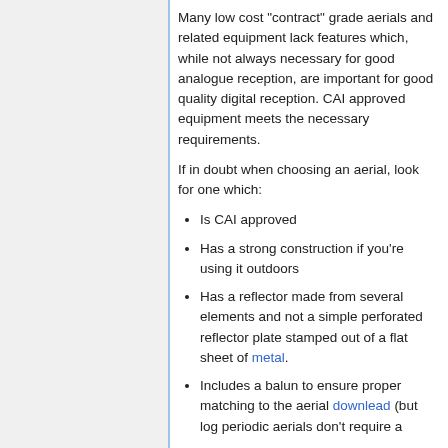Many low cost "contract" grade aerials and related equipment lack features which, while not always necessary for good analogue reception, are important for good quality digital reception. CAI approved equipment meets the necessary requirements.
If in doubt when choosing an aerial, look for one which:
Is CAI approved
Has a strong construction if you're using it outdoors
Has a reflector made from several elements and not a simple perforated reflector plate stamped out of a flat sheet of metal.
Includes a balun to ensure proper matching to the aerial downlead (but log periodic aerials don't require a